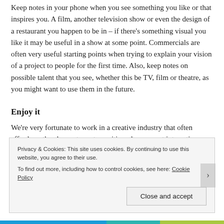Keep notes in your phone when you see something you like or that inspires you. A film, another television show or even the design of a restaurant you happen to be in – if there's something visual you like it may be useful in a show at some point. Commercials are often very useful starting points when trying to explain your vision of a project to people for the first time. Also, keep notes on possible talent that you see, whether this be TV, film or theatre, as you might want to use them in the future.
Enjoy it
We're very fortunate to work in a creative industry that often affords us the chance to go to exciting places, meet interesting people and...
Privacy & Cookies: This site uses cookies. By continuing to use this website, you agree to their use.
To find out more, including how to control cookies, see here: Cookie Policy
Close and accept